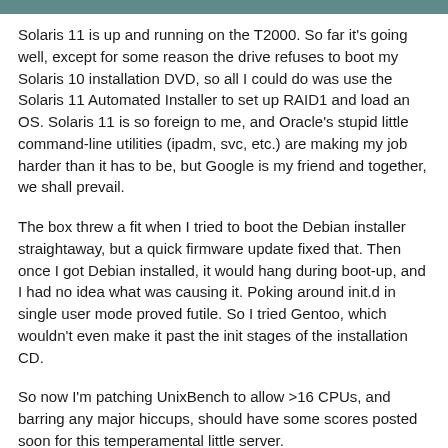Solaris 11 is up and running on the T2000. So far it's going well, except for some reason the drive refuses to boot my Solaris 10 installation DVD, so all I could do was use the Solaris 11 Automated Installer to set up RAID1 and load an OS. Solaris 11 is so foreign to me, and Oracle's stupid little command-line utilities (ipadm, svc, etc.) are making my job harder than it has to be, but Google is my friend and together, we shall prevail.
The box threw a fit when I tried to boot the Debian installer straightaway, but a quick firmware update fixed that. Then once I got Debian installed, it would hang during boot-up, and I had no idea what was causing it. Poking around init.d in single user mode proved futile. So I tried Gentoo, which wouldn't even make it past the init stages of the installation CD.
So now I'm patching UnixBench to allow >16 CPUs, and barring any major hiccups, should have some scores posted soon for this temperamental little server.